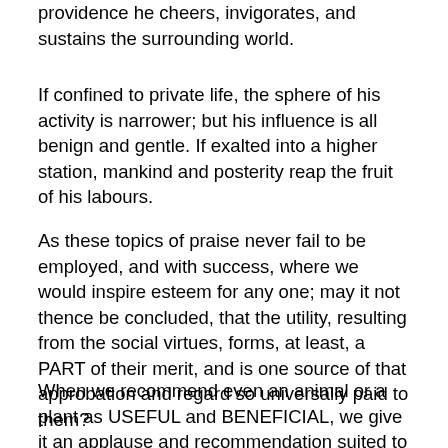providence he cheers, invigorates, and sustains the surrounding world.
If confined to private life, the sphere of his activity is narrower; but his influence is all benign and gentle. If exalted into a higher station, mankind and posterity reap the fruit of his labours.
As these topics of praise never fail to be employed, and with success, where we would inspire esteem for any one; may it not thence be concluded, that the utility, resulting from the social virtues, forms, at least, a PART of their merit, and is one source of that approbation and regard so universally paid to them?
When we recommend even an animal or a plant as USEFUL and BENEFICIAL, we give it an applause and recommendation suited to its nature. As, on the other hand, reflection on the baneful influence of any of